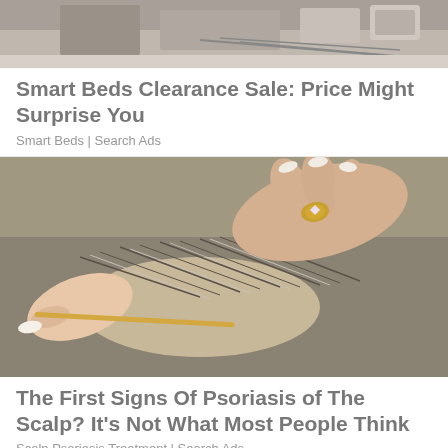[Figure (photo): Top portion of an advertisement image showing a room scene with electronics/cables, partially cropped]
Smart Beds Clearance Sale: Price Might Surprise You
Smart Beds | Search Ads
[Figure (photo): Close-up photo of hands examining hair on a scalp with a skewer/stick, the person has gray-streaked hair and the examiner wears a gold ring with white manicured nails]
The First Signs Of Psoriasis of The Scalp? It’s Not What Most People Think
Scalp Psoriasis Treatment | Search Ads
[Figure (photo): Bottom strip of another advertisement image, partially visible]